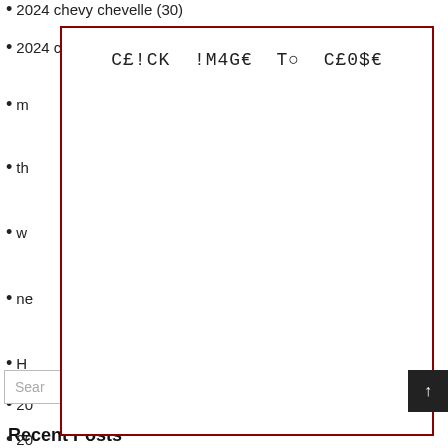2024 chevy chevelle (30)
2024 chevelle ss (13)
m…
th…
w…
ne…
H…
20…
20…
20…
[Figure (screenshot): Modal overlay with dark red border displaying the text 'CE!CK !M4GE To CE0$E' in monospace font, covering most of the page content]
Search
Recent Posts